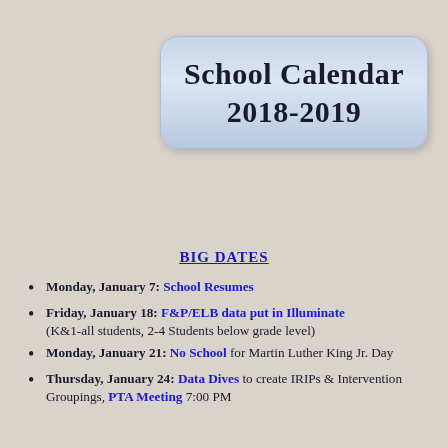School Calendar 2018-2019
BIG DATES
Monday, January 7: School Resumes
Friday, January 18: F&P/ELB data put in Illuminate (K&1-all students, 2-4 Students below grade level)
Monday, January 21: No School for Martin Luther King Jr. Day
Thursday, January 24: Data Dives to create IRIPs & Intervention Groupings, PTA Meeting 7:00 PM